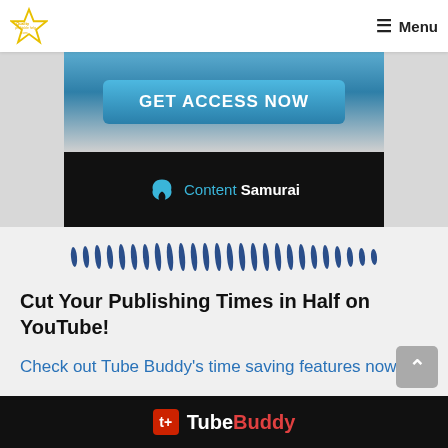Menu
[Figure (screenshot): Content Samurai banner with 'GET ACCESS NOW' button and dark footer with Content Samurai logo]
[Figure (other): Decorative divider with dark blue oval/dash marks in a row]
Cut Your Publishing Times in Half on YouTube!
Check out Tube Buddy's time saving features now.
[Figure (screenshot): TubeBuddy banner/logo at the bottom of the page]